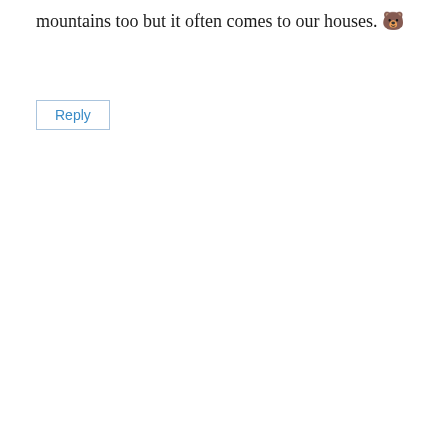mountains too but it often comes to our houses. 🐻
Reply